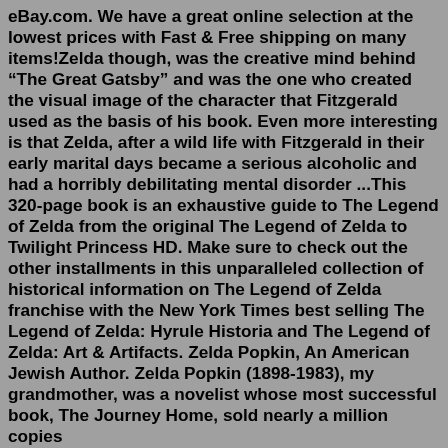eBay.com. We have a great online selection at the lowest prices with Fast & Free shipping on many items!Zelda though, was the creative mind behind "The Great Gatsby" and was the one who created the visual image of the character that Fitzgerald used as the basis of his book. Even more interesting is that Zelda, after a wild life with Fitzgerald in their early marital days became a serious alcoholic and had a horribly debilitating mental disorder ...This 320-page book is an exhaustive guide to The Legend of Zelda from the original The Legend of Zelda to Twilight Princess HD. Make sure to check out the other installments in this unparalleled collection of historical information on The Legend of Zelda franchise with the New York Times best selling The Legend of Zelda: Hyrule Historia and The Legend of Zelda: Art & Artifacts. Zelda Popkin, An American Jewish Author. Zelda Popkin (1898-1983), my grandmother, was a novelist whose most successful book, The Journey Home, sold nearly a million copies